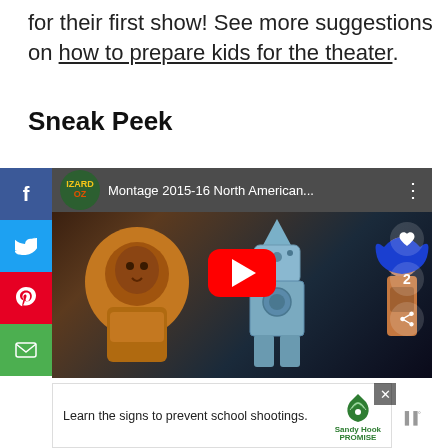for their first show! See more suggestions on how to prepare kids for the theater.
Sneak Peek
[Figure (screenshot): YouTube video thumbnail showing Wizard of Oz stage production with lion, tin man, and blue-haired character costumes. Video title: 'Montage 2015-16 North American...' with play button overlay and social action buttons (like heart, count 2, share).]
[Figure (screenshot): Advertisement banner: 'Learn the signs to prevent school shootings.' with Sandy Hook Promise logo (green tree graphic).]